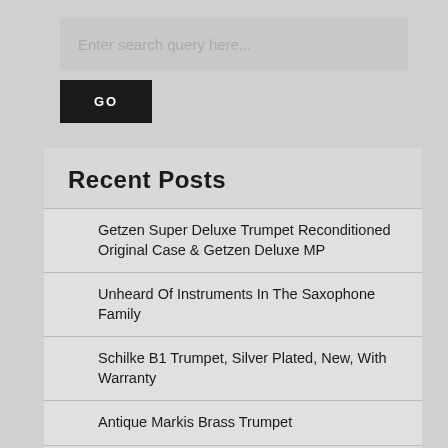[Figure (screenshot): Search input box with placeholder text 'Enter search query here...' on a light grey background]
GO
Recent Posts
Getzen Super Deluxe Trumpet Reconditioned Original Case & Getzen Deluxe MP
Unheard Of Instruments In The Saxophone Family
Schilke B1 Trumpet, Silver Plated, New, With Warranty
Antique Markis Brass Trumpet
OLDS TRUMPET A 10? Ambassador 1968 with Hardshell Case and MP Ser